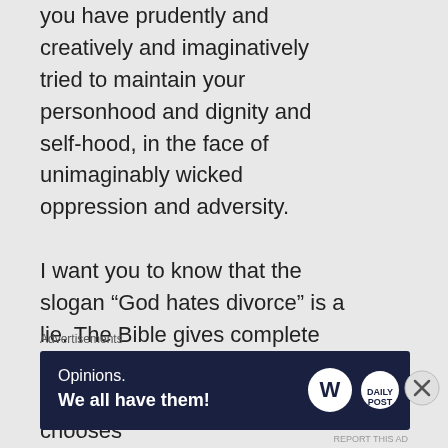you have prudently and creatively and imaginatively tried to maintain your personhood and dignity and self-hood, in the face of unimaginably wicked oppression and adversity.

I want you to know that the slogan “God hates divorce” is a lie. The Bible gives complete liberty to the victim of abuse to divorce her abuser if she so chooses
Advertisements
[Figure (advertisement): Dark navy banner ad with white text reading 'Opinions. We all have them!' with WordPress logo and another circular logo on the right.]